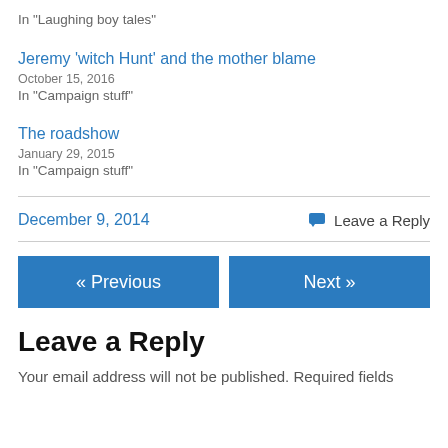In "Laughing boy tales"
Jeremy ‘witch Hunt’ and the mother blame
October 15, 2016
In "Campaign stuff"
The roadshow
January 29, 2015
In "Campaign stuff"
December 9, 2014
Leave a Reply
« Previous
Next »
Leave a Reply
Your email address will not be published. Required fields